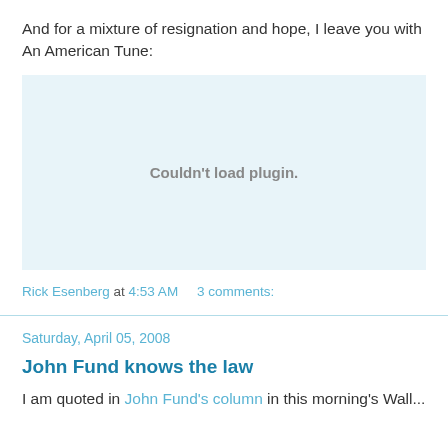And for a mixture of resignation and hope, I leave you with An American Tune:
[Figure (other): Couldn't load plugin. — embedded media plugin placeholder area with light blue background]
Rick Esenberg at 4:53 AM    3 comments:
Saturday, April 05, 2008
John Fund knows the law
I am quoted in John Fund's column in this morning's Wall...